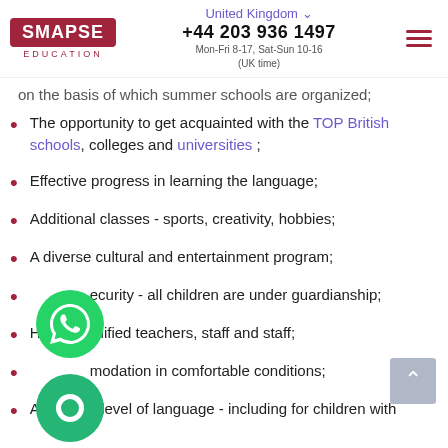SMAPSE EDUCATION | United Kingdom | +44 203 936 1497 | Mon-Fri 8-17, Sat-Sun 10-16 (UK time)
on the basis of which summer schools are organized;
The opportunity to get acquainted with the TOP British schools, colleges and universities ;
Effective progress in learning the language;
Additional classes - sports, creativity, hobbies;
A diverse cultural and entertainment program;
ecurity - all children are under guardianship;
Highly qualified teachers, staff and staff;
modation in comfortable conditions;
A different level of language - including for children with